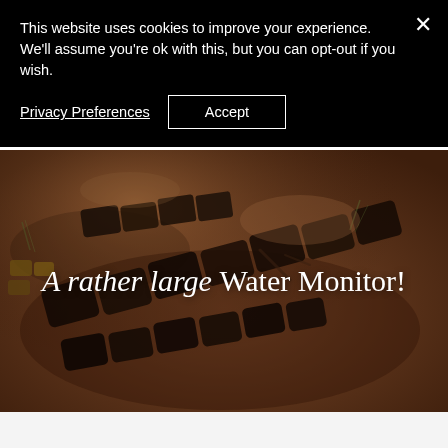SHAMWARI PRIVATE GAME RESERVE
This website uses cookies to improve your experience. We'll assume you're ok with this, but you can opt-out if you wish.
Privacy Preferences   Accept
[Figure (photo): Close-up photo of a large water monitor lizard on reddish-brown earth ground with some dry grass and vegetation visible. The reptile's scaly, patterned body fills much of the frame.]
A rather large Water Monitor!